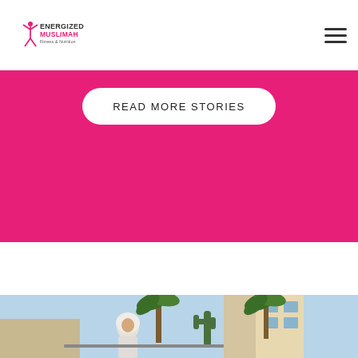Energized Muslimah Fitness & Nutrition
READ MORE STORIES
[Figure (photo): Outdoor photo of a woman wearing a white hijab and athletic wear, standing in front of palm trees, cacti, and a building with a blue sky background.]